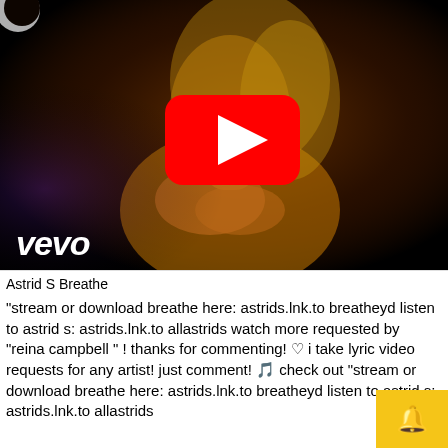[Figure (screenshot): YouTube video thumbnail showing a woman with golden body paint against a dark background, with a red YouTube play button in the center and the Vevo logo in the bottom left corner.]
Astrid S Breathe
"stream or download breathe here: astrids.lnk.to breatheyd listen to astrid s: astrids.lnk.to allastrids watch more requested by "reina campbell " ! thanks for commenting! ♡ i take lyric video requests for any artist! just comment! 🎵 check out "stream or download breathe here: astrids.lnk.to breatheyd listen to astrid s: astrids.lnk.to allastrids